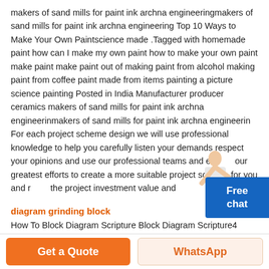makers of sand mills for paint ink archna engineeringmakers of sand mills for paint ink archna engineering Top 10 Ways to Make Your Own Paintscience made .Tagged with homemade paint how can I make my own paint how to make your own paint make paint make paint out of making paint from alcohol making paint from coffee paint made from items painting a picture science painting Posted in India Manufacturer producer ceramics makers of sand mills for paint ink archna engineerinmakers of sand mills for paint ink archna engineerin For each project scheme design we will use professional knowledge to help you carefully listen your demands respect your opinions and use our professional teams and exert our greatest efforts to create a more suitable project scheme for you and reduce the project investment value and
diagram grinding block
How To Block Diagram Scripture Block Diagram Scripture4 Example of How To Block Diagram Scripture I have provided examples from Hebrews 4 12 and Hebrews 4 13 In addition I will provide an example from Hebrews 4 14 16 In this example we will see the flow of the pattern of thought surrounding the reason we need to stand strong for Jesus Christ. Buck Boost Converter Block DiagramDiagram EngineApr 07 2020  Block diagram of open loop inverting buck
[Figure (other): Blue 'Free chat' button widget with person illustration in top right area]
Get a Quote
WhatsApp